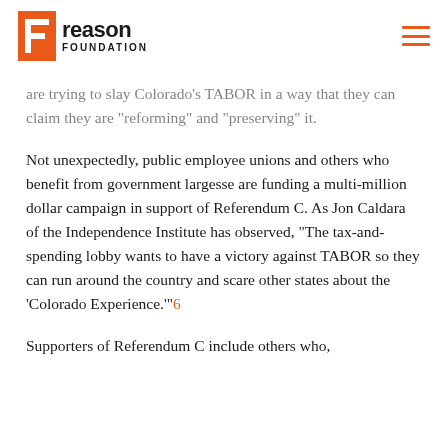Reason Foundation
are trying to slay Colorado's TABOR in a way that they can claim they are “reforming” and “preserving” it.
Not unexpectedly, public employee unions and others who benefit from government largesse are funding a multi-million dollar campaign in support of Referendum C. As Jon Caldara of the Independence Institute has observed, “The tax-and-spending lobby wants to have a victory against TABOR so they can run around the country and scare other states about the ‘Colorado Experience.’”6
Supporters of Referendum C include others who,